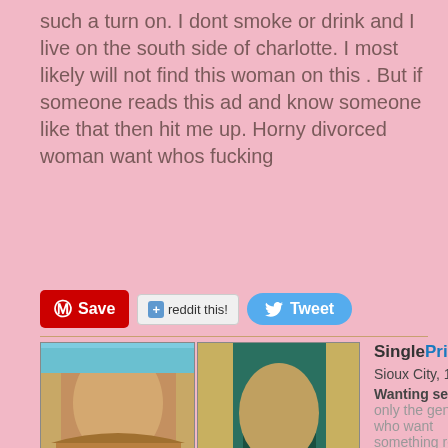such a turn on. I dont smoke or drink and I live on the south side of charlotte. I most likely will not find this woman on this . But if someone reads this ad and know someone like that then hit me up. Horny divorced woman want whos fucking
[Figure (screenshot): Social sharing buttons: Pinterest Save, reddit this!, Tweet]
[Figure (photo): Two photos of women in underwear side by side]
SinglePriscilla
Sioux City, 15822
Wanting sex date only the genuine who want something real need to read
Dominant white male seeks sub female. suck my cock if you want to give me a good bj hit me up and you can come drain the cum out of my cock what happened to old fashioned dating as the ad says, what happened with were u make out or a normal dating. why does everything have to evolve around sex. im real, not xxx of these fake ads. im not a and don't expect you to be a . whats wrong